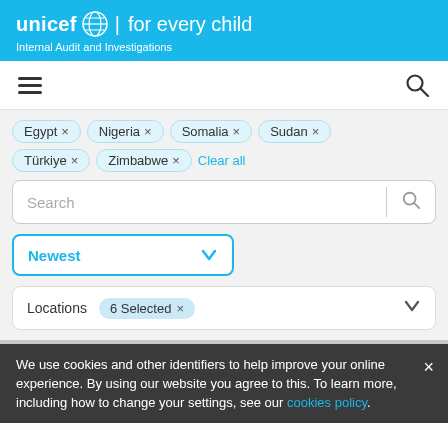unicef for every child — Internal Audit and Investigations
[Figure (screenshot): Navigation bar with hamburger menu icon on left and search icon on right]
Egypt ×
Nigeria ×
Somalia ×
Sudan ×
Türkiye ×
Zimbabwe ×
Clear all
Search
Newest
Locations   6 Selected ×
We use cookies and other identifiers to help improve your online experience. By using our website you agree to this. To learn more, including how to change your settings, see our cookies policy.